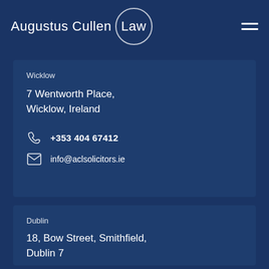Augustus Cullen Law
Wicklow
7 Wentworth Place,
Wicklow, Ireland
+353 404 67412
info@aclsolicitors.ie
Dublin
18, Bow Street, Smithfield,
Dublin 7
+353 1 613 9188